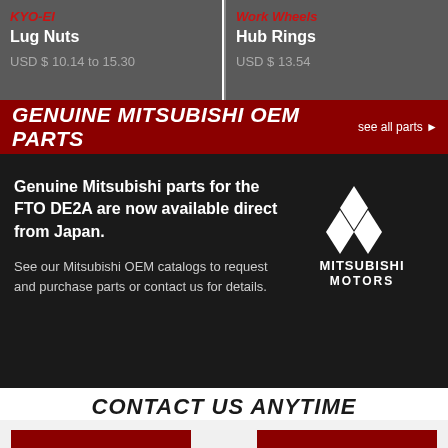KYO-EI
Lug Nuts
USD $ 10.14 to 15.30
Work Wheels
Hub Rings
USD $ 13.54
GENUINE MITSUBISHI OEM PARTS
see all parts
Genuine Mitsubishi parts for the FTO DE2A are now available direct from Japan.
[Figure (logo): Mitsubishi Motors logo — three diamonds with MITSUBISHI MOTORS text]
See our Mitsubishi OEM catalogs to request and purchase parts or contact us for details.
CONTACT US ANYTIME
Email our experienced JDM experts to discuss your next order.
EMAIL US NOW